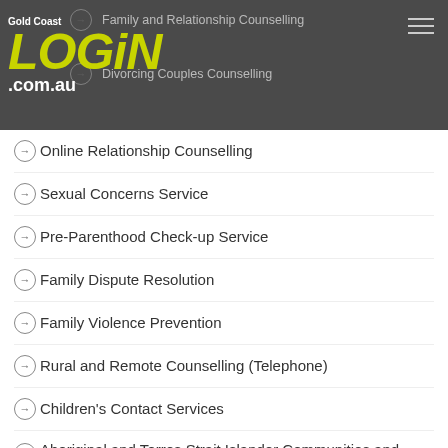Gold Coast LOGIN .com.au
Family and Relationship Counselling
Divorcing Couples Counselling
Online Relationship Counselling
Sexual Concerns Service
Pre-Parenthood Check-up Service
Family Dispute Resolution
Family Violence Prevention
Rural and Remote Counselling (Telephone)
Children's Contact Services
Aboriginal and Torres Strait Islander Communities and Families
Workplace Services